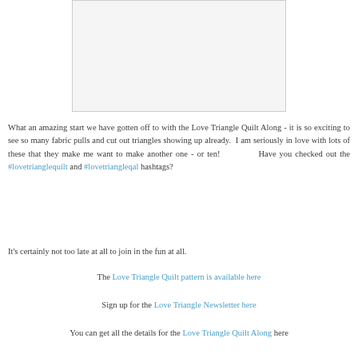[Figure (photo): A white/light gray rectangular image placeholder, centered near top of page]
What an amazing start we have gotten off to with the Love Triangle Quilt Along - it is so exciting to see so many fabric pulls and cut out triangles showing up already. I am seriously in love with lots of these that they make me want to make another one - or ten! Have you checked out the #lovetrianglequilt and #lovetriangleqal hashtags?
It's certainly not too late at all to join in the fun at all.
The Love Triangle Quilt pattern is available here
Sign up for the Love Triangle Newsletter here
You can get all the details for the Love Triangle Quilt Along here